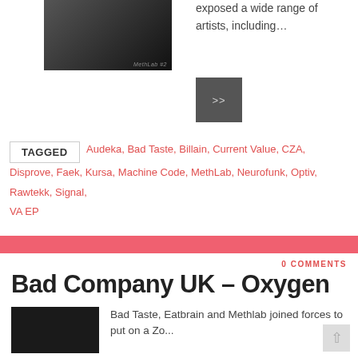[Figure (photo): Dark album artwork image, black background with abstract design, small text label at bottom right]
exposed a wide range of artists, including…
[Figure (other): Dark square button with >> arrows indicating 'read more']
TAGGED  Audeka, Bad Taste, Billain, Current Value, CZA, Disprove, Faek, Kursa, Machine Code, MethLab, Neurofunk, Optiv, Rawtekk, Signal, VA EP
0 COMMENTS
Bad Company UK – Oxygen (Prolix Remix)
THURSDAY MARCH 24TH, 2016 - 09:29 PM   VIDEOS
[Figure (photo): Black and white thumbnail image for the Bad Company UK post]
Bad Taste, Eatbrain and Methlab joined forces to put on a Zo...